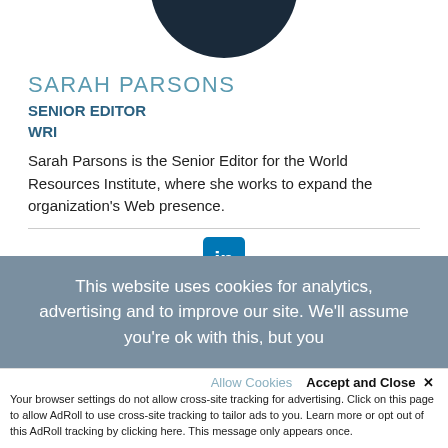[Figure (photo): Cropped circular headshot photo of Sarah Parsons, showing top of head with dark hair against a dark navy circular background]
SARAH PARSONS
SENIOR EDITOR
WRI
Sarah Parsons is the Senior Editor for the World Resources Institute, where she works to expand the organization's Web presence.
[Figure (logo): LinkedIn logo icon — white 'in' letters on a blue rounded square background]
This website uses cookies for analytics, advertising and to improve our site. We'll assume you're ok with this, but you
Allow Cookies
Accept and Close ✕
Your browser settings do not allow cross-site tracking for advertising. Click on this page to allow AdRoll to use cross-site tracking to tailor ads to you. Learn more or opt out of this AdRoll tracking by clicking here. This message only appears once.